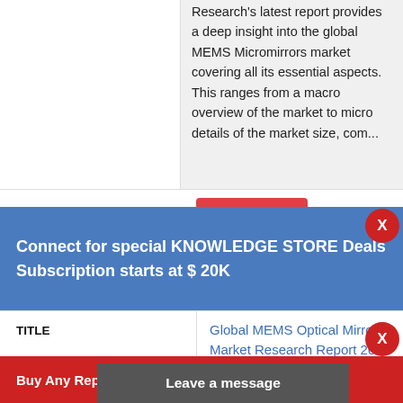Research's latest report provides a deep insight into the global MEMS Micromirrors market covering all its essential aspects. This ranges from a macro overview of the market to micro details of the market size, com...
Buy Now
Buy Now
Connect for special KNOWLEDGE STORE Deals Subscription starts at $ 20K
X
| TITLE |  |
| --- | --- |
| TITLE | Global MEMS Optical Mirrors Market Research Report 2022 (Status and Outlook) |
Buy Any Report Avail 20% Code:
X
Leave a message